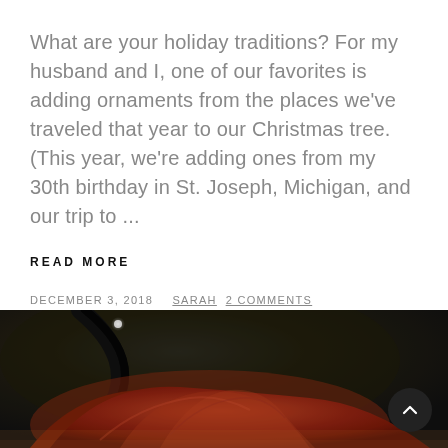What are your holiday traditions? For my husband and I, one of our favorites is adding ornaments from the places we've traveled that year to our Christmas tree. (This year, we're adding ones from my 30th birthday in St. Joseph, Michigan, and our trip to ...
READ MORE
DECEMBER 3, 2018   SARAH   2 COMMENTS
[Figure (photo): Close-up photo of a dark cast iron skillet or pan with a reddish-brown piece of meat or food item, dark background.]